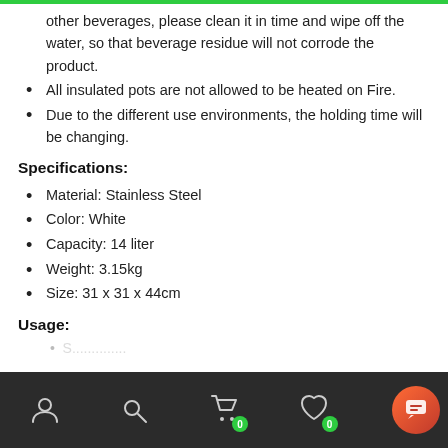other beverages, please clean it in time and wipe off the water, so that beverage residue will not corrode the product.
All insulated pots are not allowed to be heated on Fire.
Due to the different use environments, the holding time will be changing.
Specifications:
Material: Stainless Steel
Color: White
Capacity: 14 liter
Weight: 3.15kg
Size: 31 x 31 x 44cm
Usage:
Navigation bar with user, search, cart (0), wishlist (0), and chat icons